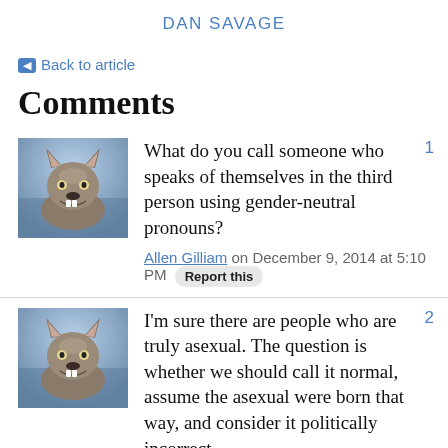DAN SAVAGE
← Back to article
Comments
[Figure (illustration): Avatar image of a wolf baring teeth]
What do you call someone who speaks of themselves in the third person using gender-neutral pronouns?
Allen Gilliam on December 9, 2014 at 5:10 PM  Report this
[Figure (illustration): Avatar image of a wolf baring teeth]
I'm sure there are people who are truly asexual. The question is whether we should call it normal, assume the asexual were born that way, and consider it politically incorrect...